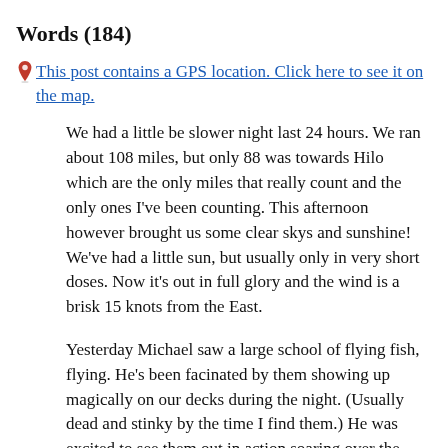Words (184)
This post contains a GPS location. Click here to see it on the map.
We had a little be slower night last 24 hours. We ran about 108 miles, but only 88 was towards Hilo which are the only miles that really count and the only ones I've been counting. This afternoon however brought us some clear skys and sunshine! We've had a little sun, but usually only in very short doses. Now it's out in full glory and the wind is a brisk 15 knots from the East.
Yesterday Michael saw a large school of flying fish, flying. He's been facinated by them showing up magically on our decks during the night. (Usually dead and stinky by the time I find them.) He was excited to see them out in action soaring over the waves.
We are about 500 miles from Hilo now. That's about 5 days away and Mexico is quickly falling into memory. As a token, I'll keep the Mexican flag flying until we reach Hilo.
I think we've shot some cool video with Michael's water